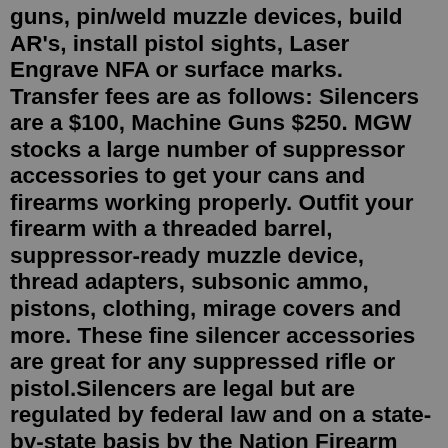guns, pin/weld muzzle devices, build AR's, install pistol sights, Laser Engrave NFA or surface marks. Transfer fees are as follows: Silencers are a $100, Machine Guns $250. MGW stocks a large number of suppressor accessories to get your cans and firearms working properly. Outfit your firearm with a threaded barrel, suppressor-ready muzzle device, thread adapters, subsonic ammo, pistons, clothing, mirage covers and more. These fine silencer accessories are great for any suppressed rifle or pistol.Silencers are legal but are regulated by federal law and on a state-by-state basis by the Nation Firearm Act (NFA) branch of the Bureau of Alcohol, Tobacco, Firearms, and Explosives (BATFE). Private citizens can legally purchase and possess silencers in 42 states* without a permit. u0003. To purchase a silencer the following qualifications apply:Aug 26, 2020 · The Glock 19X is the civilian version of Glock's entry to provide a new handgun for the US Army and Air Force, and this is the model we've just received in BB-firing CO2 format from Umarex. The one on test